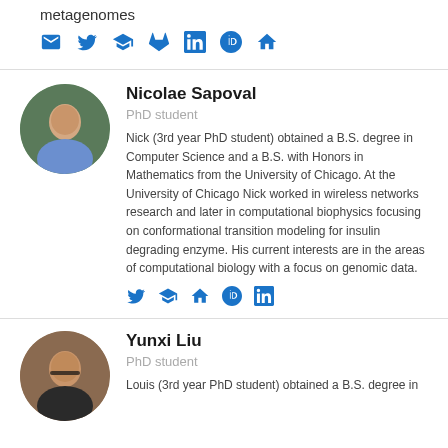metagenomes
[Figure (other): Social media icons row: email, twitter, google scholar, gitlab/bitbucket, linkedin, orcid, home]
Nicolae Sapoval
PhD student
Nick (3rd year PhD student) obtained a B.S. degree in Computer Science and a B.S. with Honors in Mathematics from the University of Chicago. At the University of Chicago Nick worked in wireless networks research and later in computational biophysics focusing on conformational transition modeling for insulin degrading enzyme. His current interests are in the areas of computational biology with a focus on genomic data.
[Figure (other): Social media icons row: twitter, google scholar, home, orcid, linkedin]
Yunxi Liu
PhD student
Louis (3rd year PhD student) obtained a B.S. degree in